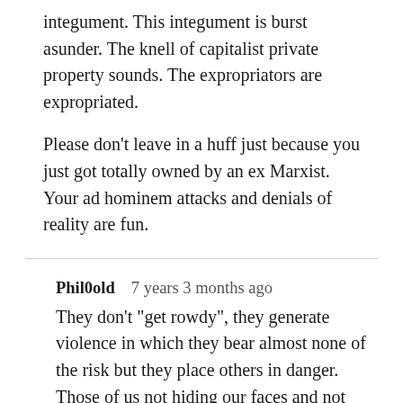integument. This integument is burst asunder. The knell of capitalist private property sounds. The expropriators are expropriated.
Please don't leave in a huff just because you just got totally owned by an ex Marxist. Your ad hominem attacks and denials of reality are fun.
Phil0old   7 years 3 months ago
They don't "get rowdy", they generate violence in which they bear almost none of the risk but they place others in danger. Those of us not hiding our faces and not creating confrontation are the ones who